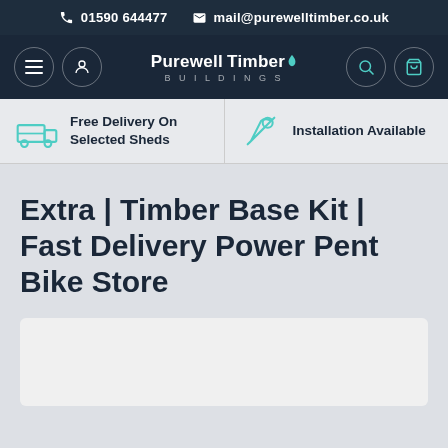📞 01590 644477  ✉ mail@purewelltimber.co.uk
[Figure (logo): Purewell Timber Buildings logo with navigation icons (hamburger menu, user icon, search, cart) on dark navy background]
Free Delivery On Selected Sheds
Installation Available
Extra | Timber Base Kit | Fast Delivery Power Pent Bike Store
[Figure (photo): Product image placeholder (light grey box)]